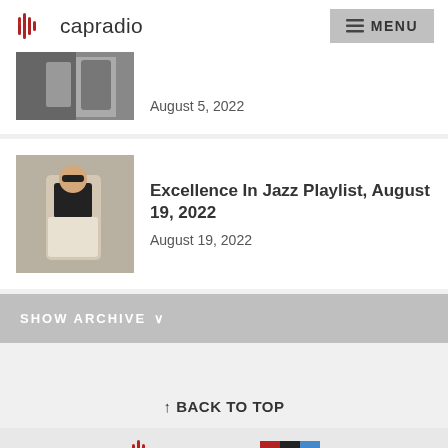capradio | MENU
August 5, 2022
Excellence In Jazz Playlist, August 19, 2022
August 19, 2022
SHOW ARCHIVE
↑ BACK TO TOP